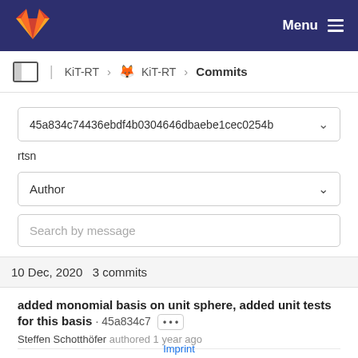GitLab — Menu
KiT-RT › KiT-RT › Commits
45a834c74436ebdf4b0304646dbaebe1cec0254b
rtsn
Author
Search by message
10 Dec, 2020 3 commits
added monomial basis on unit sphere, added unit tests for this basis · 45a834c7 ···
Steffen Schotthöfer authored 1 year ago
repaired some post merge errors. Updated readme ·
Imprint